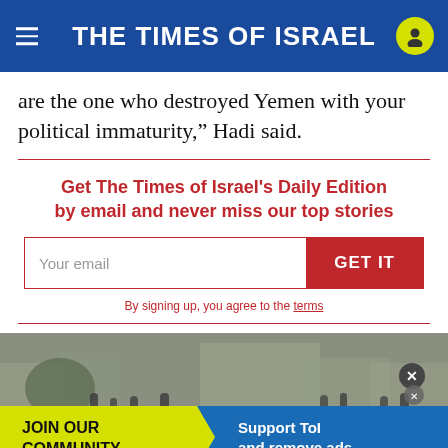THE TIMES OF ISRAEL
are the one who destroyed Yemen with your political immaturity,” Hadi said.
Get The Times of Israel's Daily Edition by email and never miss our top stories
Your email | GET IT
By signing up, you agree to the terms
[Figure (photo): Street scene with people gathered, likely in Yemen. Overlay banners at bottom: yellow 'JOIN OUR COMMUNITY' and blue 'Support ToI and remove ads'.]